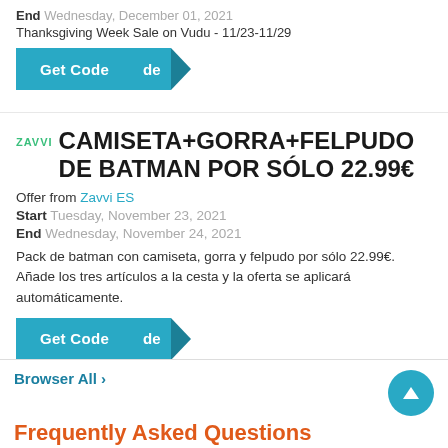End Wednesday, December 01, 2021
Thanksgiving Week Sale on Vudu - 11/23-11/29
[Figure (other): Get Code button (teal/cyan) with arrow chevron cutout on right side]
CAMISETA+GORRA+FELPUDO DE BATMAN POR SÓLO 22.99€
Offer from Zavvi ES
Start Tuesday, November 23, 2021
End Wednesday, November 24, 2021
Pack de batman con camiseta, gorra y felpudo por sólo 22.99€. Añade los tres artículos a la cesta y la oferta se aplicará automáticamente.
[Figure (other): Get Code button (teal/cyan) with arrow chevron cutout on right side]
Browser All ›
Frequently Asked Questions